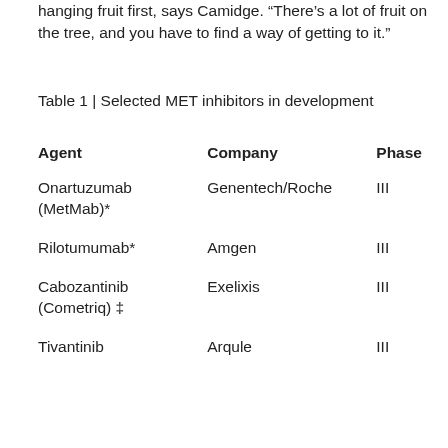hanging fruit first, says Camidge. “There’s a lot of fruit on the tree, and you have to find a way of getting to it.”
Table 1 | Selected MET inhibitors in development
| Agent | Company | Phase |
| --- | --- | --- |
| Onartuzumab (MetMab)* | Genentech/Roche | III |
| Rilotumumab* | Amgen | III |
| Cabozantinib (Cometriq) ‡ | Exelixis | III |
| Tivantinib | Arqule | III |